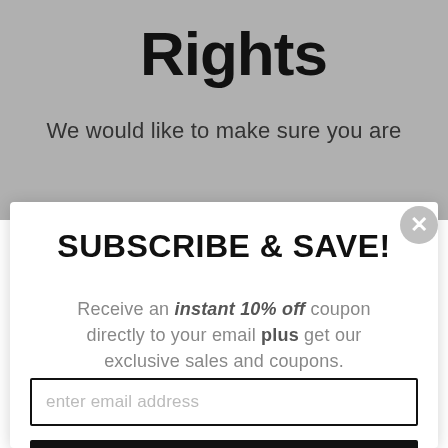Rights
We would like to make sure you are
SUBSCRIBE & SAVE!
Receive an instant 10% off coupon directly to your email plus get our exclusive sales and coupons.
enter email address
GET COUPON NOW